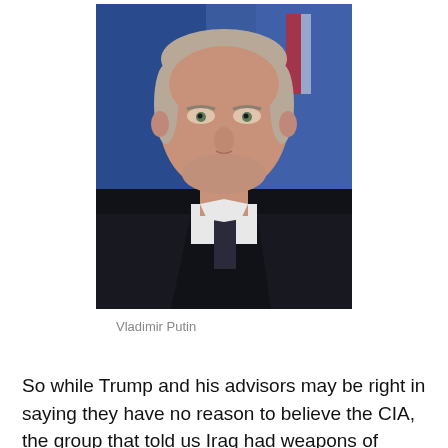[Figure (photo): Close-up portrait photo of Vladimir Putin in a dark suit and tie, with a blue background.]
Vladimir Putin
So while Trump and his advisors may be right in saying they have no reason to believe the CIA, the group that told us Iraq had weapons of mass destruction, a lot of people have known for a long time that Russia was hacking the